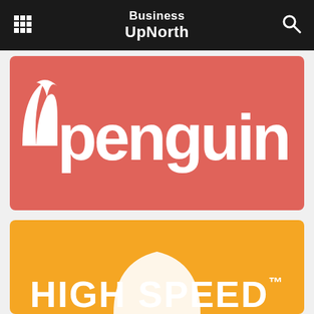Business UpNorth
[Figure (logo): Penguin logo on coral/salmon red background with rounded white bold lowercase text 'penguin' with a stylized bird icon]
[Figure (logo): High Speed logo on orange background with white arc/swoosh graphic and bold white uppercase text 'HIGH SPEED' with TM mark]